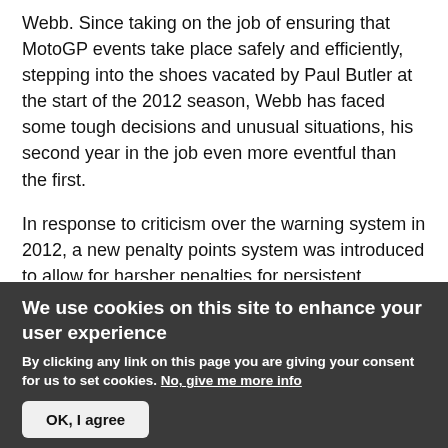Webb. Since taking on the job of ensuring that MotoGP events take place safely and efficiently, stepping into the shoes vacated by Paul Butler at the start of the 2012 season, Webb has faced some tough decisions and unusual situations, his second year in the job even more eventful than the first.
In response to criticism over the warning system in 2012, a new penalty points system was introduced to allow for harsher penalties for persistent offenders. There were several high-profile incidents involving Marc Marquez in his rookie season, including a clash with Jorge Lorenzo at Jerez, a touch which severed the
We use cookies on this site to enhance your user experience
By clicking any link on this page you are giving your consent for us to set cookies. No, give me more info
OK, I agree